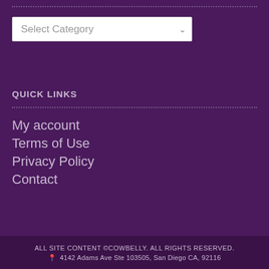[Figure (other): Dropdown UI element labeled 'Select Category' with a chevron arrow on the right]
QUICK LINKS
My account
Terms of Use
Privacy Policy
Contact
ALL SITE CONTENT ©COWBELLY. ALL RIGHTS RESERVED.
📍 4142 Adams Ave Ste 103505, San Diego CA, 92116